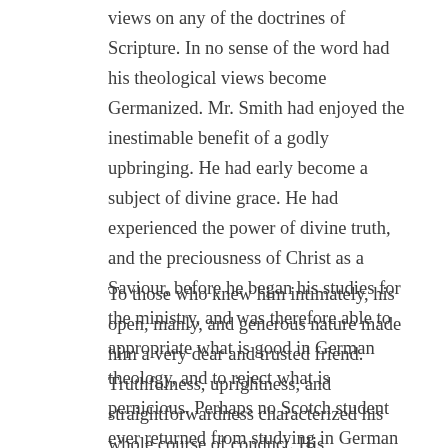views on any of the doctrines of Scripture. In no sense of the word had his theological views become Germanized. Mr. Smith had enjoyed the inestimable benefit of a godly upbringing. He had early become a subject of divine grace. He had experienced the power of divine truth, and the preciousness of Christ as a Saviour, before he began his studies for the ministry, and was therefore able to appropriate what is good in German theology, and to reject what is pernicious. Perhaps no Scotch student ever returned from studying in German universities with a mind so untainted by rationalistic views.
To those who knew him intimately, his open, manly, and generous nature made him a very dear and trusted friend. Truthfulness, uprightness, and straightforwardness characterized his whole course of conduct. His attainments as a theologian were of no mean order. His clear, well-defined views were expressed in beautifully appropriate language. As a preacher he was thoroughly evangelical and